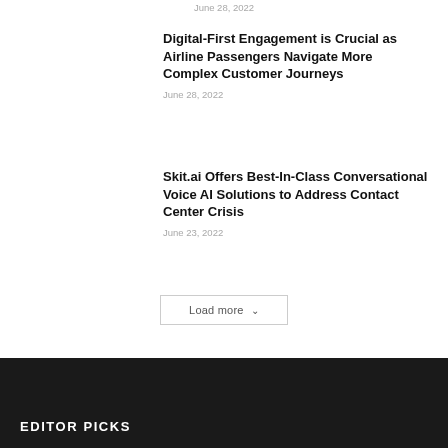June 28, 2022
Digital-First Engagement is Crucial as Airline Passengers Navigate More Complex Customer Journeys
June 28, 2022
Skit.ai Offers Best-In-Class Conversational Voice AI Solutions to Address Contact Center Crisis
June 23, 2022
Load more
EDITOR PICKS